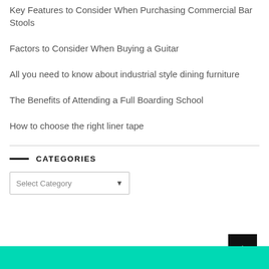Key Features to Consider When Purchasing Commercial Bar Stools
Factors to Consider When Buying a Guitar
All you need to know about industrial style dining furniture
The Benefits of Attending a Full Boarding School
How to choose the right liner tape
CATEGORIES
Select Category